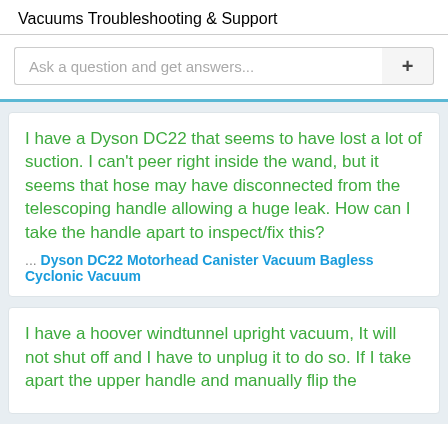Vacuums
Troubleshooting & Support
Ask a question and get answers...
I have a Dyson DC22 that seems to have lost a lot of suction. I can't peer right inside the wand, but it seems that hose may have disconnected from the telescoping handle allowing a huge leak. How can I take the handle apart to inspect/fix this?
... Dyson DC22 Motorhead Canister Vacuum Bagless Cyclonic Vacuum
I have a hoover windtunnel upright vacuum, It will not shut off and I have to unplug it to do so. If I take apart the upper handle and manually flip the